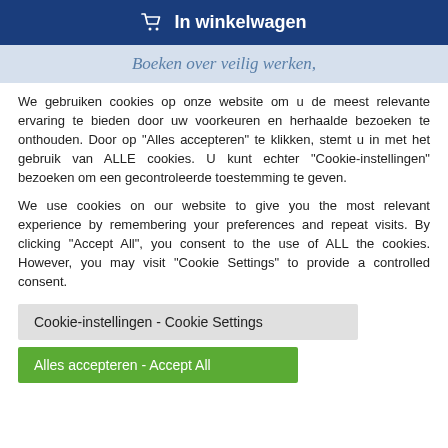[Figure (other): Dark blue button with shopping cart icon and text 'In winkelwagen']
Boeken over veilig werken,
We gebruiken cookies op onze website om u de meest relevante ervaring te bieden door uw voorkeuren en herhaalde bezoeken te onthouden. Door op "Alles accepteren" te klikken, stemt u in met het gebruik van ALLE cookies. U kunt echter "Cookie-instellingen" bezoeken om een gecontroleerde toestemming te geven.
We use cookies on our website to give you the most relevant experience by remembering your preferences and repeat visits. By clicking "Accept All", you consent to the use of ALL the cookies. However, you may visit "Cookie Settings" to provide a controlled consent.
Cookie-instellingen - Cookie Settings
Alles accepteren - Accept All